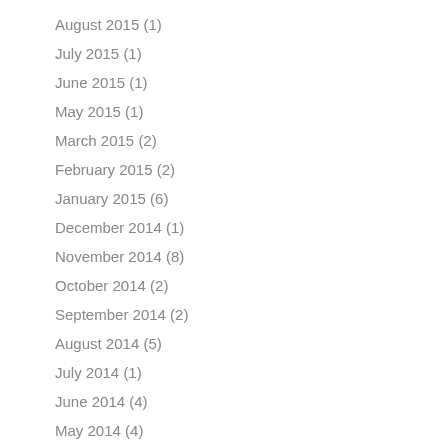August 2015 (1)
July 2015 (1)
June 2015 (1)
May 2015 (1)
March 2015 (2)
February 2015 (2)
January 2015 (6)
December 2014 (1)
November 2014 (8)
October 2014 (2)
September 2014 (2)
August 2014 (5)
July 2014 (1)
June 2014 (4)
May 2014 (4)
April 2014 (2)
March 2014 (2)
February 2014 (3)
January 2014 (3)